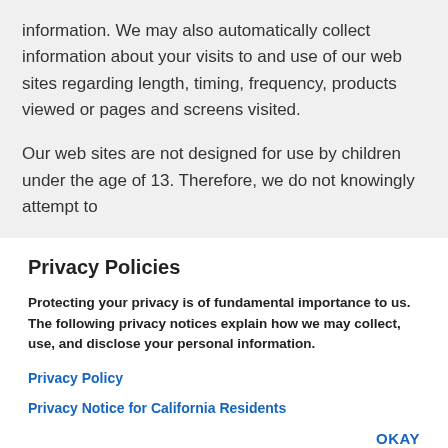information. We may also automatically collect information about your visits to and use of our web sites regarding length, timing, frequency, products viewed or pages and screens visited.
Our web sites are not designed for use by children under the age of 13. Therefore, we do not knowingly attempt to
Privacy Policies
Protecting your privacy is of fundamental importance to us. The following privacy notices explain how we may collect, use, and disclose your personal information.
Privacy Policy
Privacy Notice for California Residents
OKAY